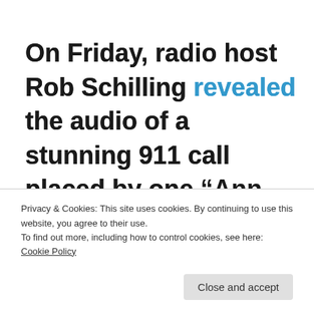On Friday, radio host Rob Schilling revealed the audio of a stunning 911 call placed by one “Ann, Downey,” apparently a passenger in
Privacy & Cookies: This site uses cookies. By continuing to use this website, you agree to their use.
To find out more, including how to control cookies, see here: Cookie Policy